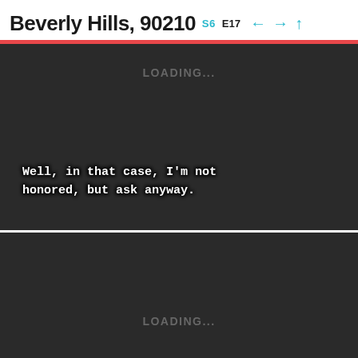Beverly Hills, 90210 S6 E17
[Figure (screenshot): Dark video player panel showing LOADING... text at top center, with subtitle text at bottom left reading: Well, in that case, I'm not honored, but ask anyway.]
[Figure (screenshot): Dark video player panel showing LOADING... text at center-bottom area.]